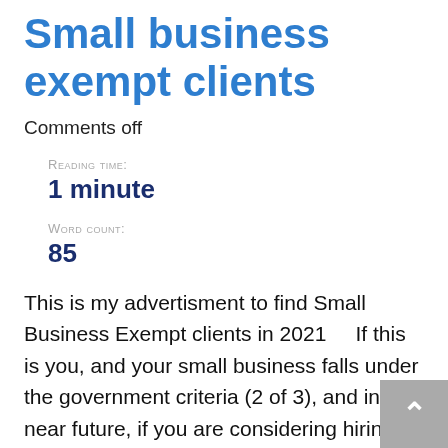Small business exempt clients
Comments off
Reading time:
1 minute
Word count:
85
This is my advertisment to find Small Business Exempt clients in 2021     If this is you, and your small business falls under the government criteria (2 of 3), and in the near future, if you are considering hiring a Java contractor developer specialist, then you find my details: My LinkedIn is here: